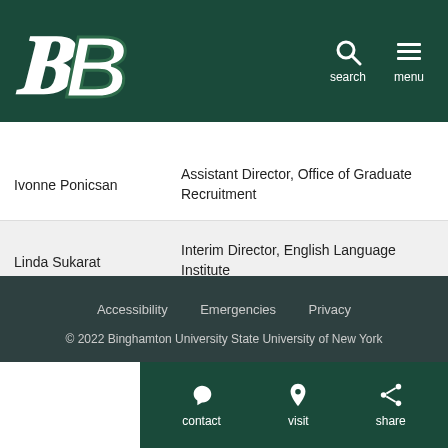Binghamton University header with logo B, search, and menu
| Name | Title |
| --- | --- |
| Ivonne Ponicsan | Assistant Director, Office of Graduate Recruitment |
| Linda Sukarat | Interim Director, English Language Institute |
Accessibility   Emergencies   Privacy
© 2022 Binghamton University State University of New York
contact   visit   share